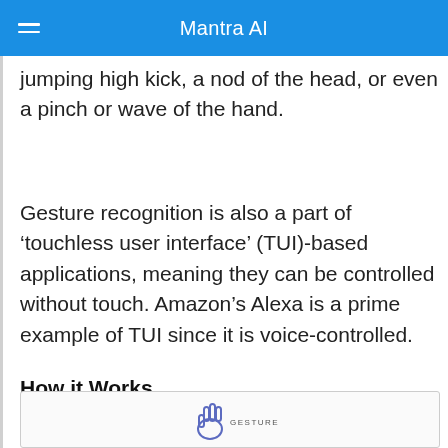Mantra AI
jumping high kick, a nod of the head, or even a pinch or wave of the hand.
Gesture recognition is also a part of ‘touchless user interface’ (TUI)-based applications, meaning they can be controlled without touch. Amazon’s Alexa is a prime example of TUI since it is voice-controlled.
How it Works
[Figure (illustration): A diagram showing a gesture recognition flow with a hand/gesture icon and the label 'GESTURE' at the bottom of the page.]